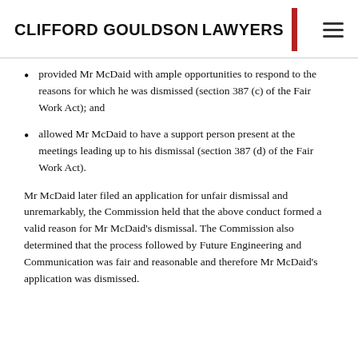CLIFFORD GOULDSON LAWYERS
provided Mr McDaid with ample opportunities to respond to the reasons for which he was dismissed (section 387 (c) of the Fair Work Act); and
allowed Mr McDaid to have a support person present at the meetings leading up to his dismissal (section 387 (d) of the Fair Work Act).
Mr McDaid later filed an application for unfair dismissal and unremarkably, the Commission held that the above conduct formed a valid reason for Mr McDaid's dismissal. The Commission also determined that the process followed by Future Engineering and Communication was fair and reasonable and therefore Mr McDaid's application was dismissed.